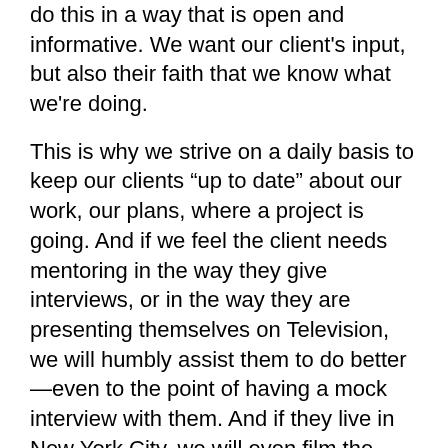do this in a way that is open and informative. We want our client's input, but also their faith that we know what we're doing.
This is why we strive on a daily basis to keep our clients “up to date” about our work, our plans, where a project is going. And if we feel the client needs mentoring in the way they give interviews, or in the way they are presenting themselves on Television, we will humbly assist them to do better—even to the point of having a mock interview with them. And if they live in New York City, we will even film the